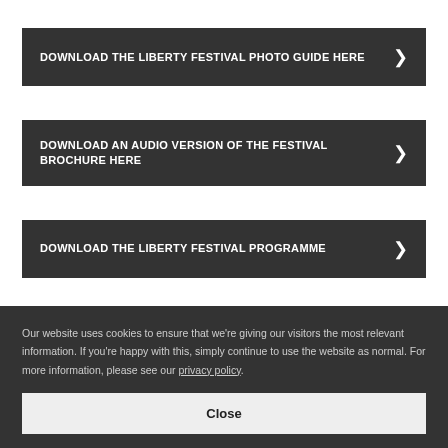DOWNLOAD THE LIBERTY FESTIVAL PHOTO GUIDE HERE
DOWNLOAD AN AUDIO VERSION OF THE FESTIVAL BROCHURE HERE
DOWNLOAD THE LIBERTY FESTIVAL PROGRAMME
Our website uses cookies to ensure that we're giving our visitors the most relevant information. If you're happy with this, simply continue to use the website as normal. For more information, please see our privacy policy.
Close